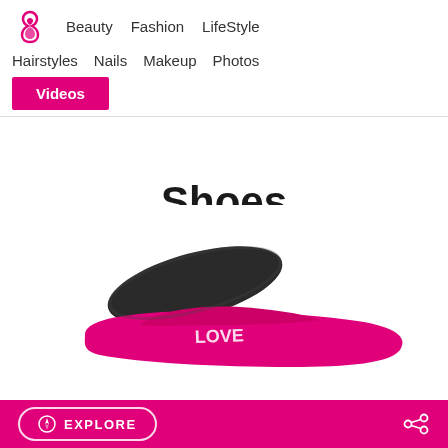Beauty | Fashion | LifeStyle | Hairstyles | Nails | Makeup | Photos | Videos
Shoes
[Figure (photo): Photo of pink and black slide sandal shoes at the bottom of the page]
EXPLORE (share icon)